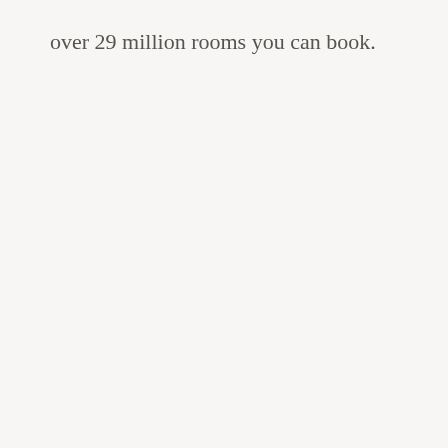over 29 million rooms you can book.